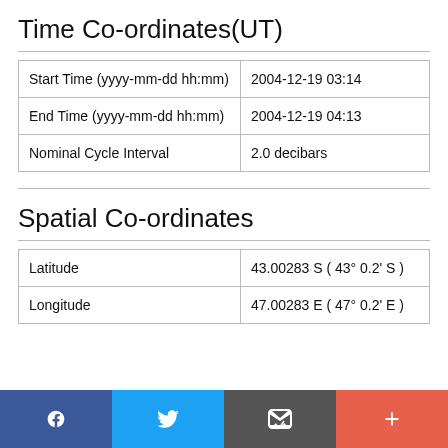Time Co-ordinates(UT)
| Start Time (yyyy-mm-dd hh:mm) | 2004-12-19 03:14 |
| End Time (yyyy-mm-dd hh:mm) | 2004-12-19 04:13 |
| Nominal Cycle Interval | 2.0 decibars |
Spatial Co-ordinates
| Latitude | 43.00283 S ( 43° 0.2' S ) |
| Longitude | 47.00283 E ( 47° 0.2' E ) |